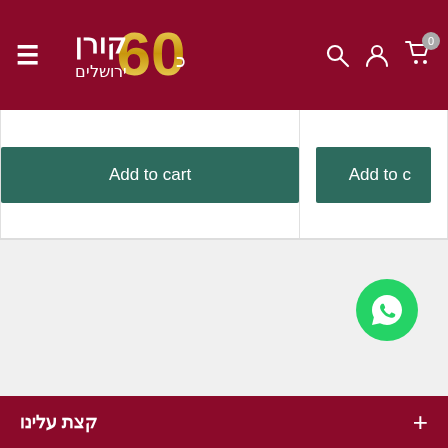[Figure (screenshot): E-commerce website header with dark red/maroon background. Shows hamburger menu icon on left, '60 קורן ירושלים' logo in center-left, and search, account, cart icons on right with cart badge showing 0.]
[Figure (screenshot): Two product card buttons: 'Add to cart' button in teal/dark green on the left card, and a partially visible 'Add to c...' button on the right card, on a light gray background.]
[Figure (infographic): Shipping info section on light gray background with a dark red box/package icon, Hebrew text 'משלוח חינם' (free shipping) in dark red, and '₪ מעל 250' (over 250 NIS) in teal underlined, with four dots below (first dot active/filled in red, remaining three gray).]
[Figure (screenshot): Green circular WhatsApp icon button in bottom right corner.]
קצת עלינו
+